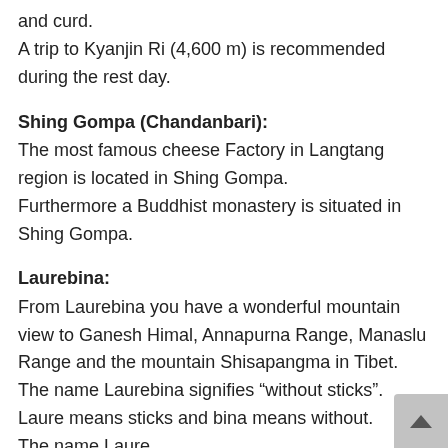and curd. A trip to Kyanjin Ri (4,600 m) is recommended during the rest day.
Shing Gompa (Chandanbari):
The most famous cheese Factory in Langtang region is located in Shing Gompa. Furthermore a Buddhist monastery is situated in Shing Gompa.
Laurebina:
From Laurebina you have a wonderful mountain view to Ganesh Himal, Annapurna Range, Manaslu Range and the mountain Shisapangma in Tibet. The name Laurebina signifies “without sticks”. Laure means sticks and bina means without. The name Laure...